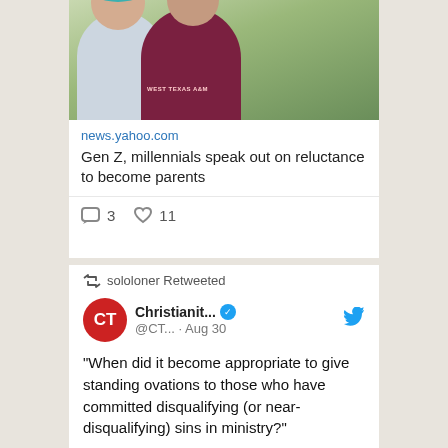[Figure (photo): Two smiling young people outdoors, one wearing a West Texas A&M maroon shirt and teal-colored hair]
news.yahoo.com
Gen Z, millennials speak out on reluctance to become parents
3 comments · 11 likes
sololoner Retweeted
[Figure (logo): Christianity Today CT red circular logo]
Christianit... @CT... · Aug 30
“When did it become appropriate to give standing ovations to those who have committed disqualifying (or near-disqualifying) sins in ministry?”